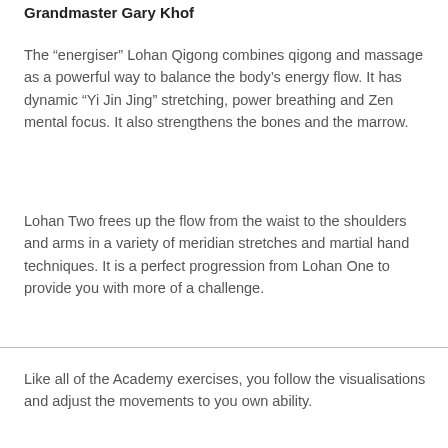Grandmaster Gary Khof
The “energiser” Lohan Qigong combines qigong and massage as a powerful way to balance the body’s energy flow. It has dynamic “Yi Jin Jing” stretching, power breathing and Zen mental focus. It also strengthens the bones and the marrow.
Lohan Two frees up the flow from the waist to the shoulders and arms in a variety of meridian stretches and martial hand techniques. It is a perfect progression from Lohan One to provide you with more of a challenge.
Like all of the Academy exercises, you follow the visualisations and adjust the movements to you own ability.